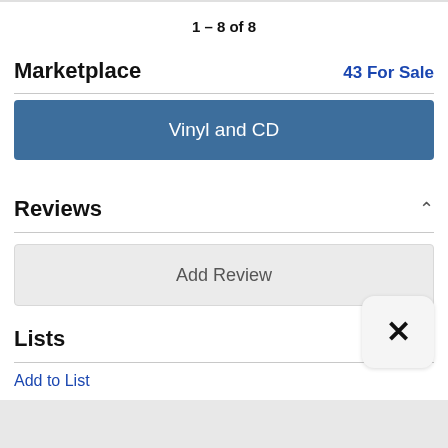1 – 8 of 8
Marketplace
43 For Sale
[Figure (other): Blue button labeled 'Vinyl and CD']
Reviews
[Figure (other): Gray button labeled 'Add Review']
Lists
Add to List
[Figure (other): Close button with X symbol]